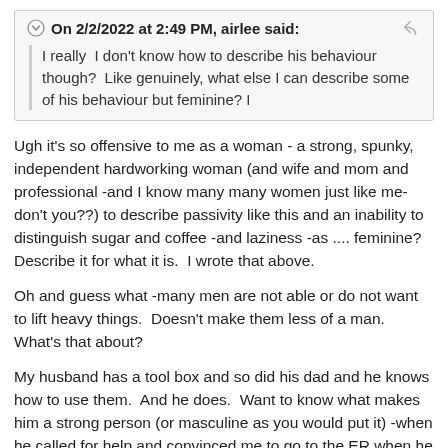On 2/2/2022 at 2:49 PM, airlee said: I really  I don't know how to describe his behaviour though?  Like genuinely, what else I can describe some of his behaviour but feminine? I
Ugh it's so offensive to me as a woman - a strong, spunky, independent hardworking woman (and wife and mom and professional -and I know many many women just like me- don't you??) to describe passivity like this and an inability to distinguish sugar and coffee -and laziness -as .... feminine?  Describe it for what it is.  I wrote that above.
Oh and guess what -many men are not able or do not want to lift heavy things.  Doesn't make them less of a man.  What's that about?
My husband has a tool box and so did his dad and he knows how to use them.  And he does.  Want to know what makes him a strong person (or masculine as you would put it) -when he called for help and convinced me to go to the ER when he believed